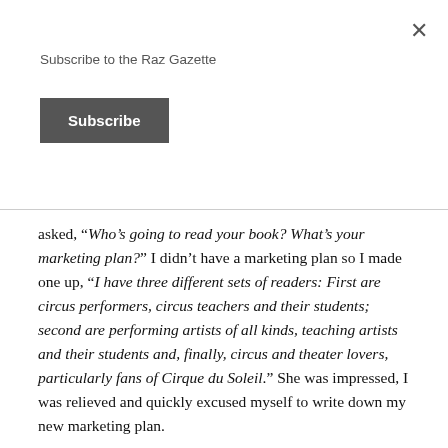Subscribe to the Raz Gazette
Subscribe
asked, “Who’s going to read your book? What’s your marketing plan?” I didn’t have a marketing plan so I made one up, “I have three different sets of readers: First are circus performers, circus teachers and their students; second are performing artists of all kinds, teaching artists and their students and, finally, circus and theater lovers, particularly fans of Cirque du Soleil.” She was impressed, I was relieved and quickly excused myself to write down my new marketing plan.
The Secret Life of Clowns launched at the Smithsonian Folklife Festival’s tribute to Circus Arts. I had consulted with the Smithsonian for over a year, helping to plan the 10-day festival, and they scheduled a series of book